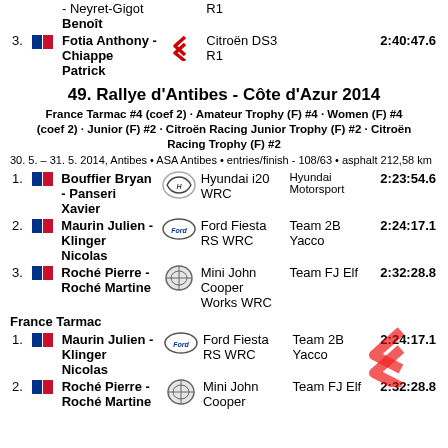| Pos | Flag | Driver | Logo | Car | Team | Time |
| --- | --- | --- | --- | --- | --- | --- |
|  |  | - Neyret-Gigot Benoît |  |  |  | R1 |
| 3. | FR | Fotia Anthony - Chiappe Patrick | Citroën | Citroën DS3 R1 |  | 2:40:47.6 |
49. Rallye d'Antibes - Côte d'Azur 2014
France Tarmac #4 (coef 2) · Amateur Trophy (F) #4 · Women (F) #4 (coef 2) · Junior (F) #2 · Citroën Racing Junior Trophy (F) #2 · Citroën Racing Trophy (F) #2
30. 5. – 31. 5. 2014, Antibes • ASA Antibes • entries/finish - 108/63 • asphalt 212,58 km
| Pos | Flag | Driver | Logo | Car | Team | Time |
| --- | --- | --- | --- | --- | --- | --- |
| 1. | FR | Bouffier Bryan - Panseri Xavier | Hyundai | Hyundai i20 WRC | Hyundai Motorsport | 2:23:54.6 |
| 2. | FR | Maurin Julien - Klinger Nicolas | Ford | Ford Fiesta RS WRC | Team 2B Yacco | 2:24:17.1 |
| 3. | FR | Roché Pierre - Roché Martine | Mini | Mini John Cooper Works WRC | Team FJ Elf | 2:32:28.8 |
France Tarmac
| Pos | Flag | Driver | Logo | Car | Team | Time |
| --- | --- | --- | --- | --- | --- | --- |
| 1. | FR | Maurin Julien - Klinger Nicolas | Ford | Ford Fiesta RS WRC | Team 2B Yacco | 2:24:17.1 |
| 2. | FR | Roché Pierre - Roché Martine | Mini | Mini John Cooper | Team FJ Elf | 2:32:28.8 |